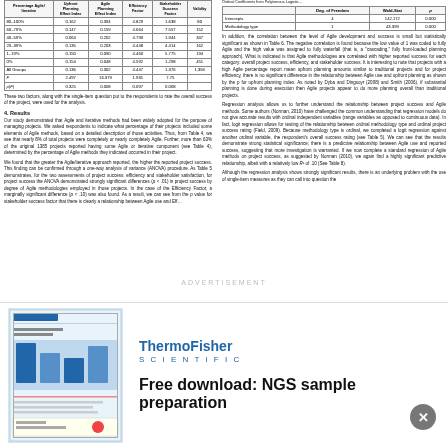| Percentage Agile/Iterative | Upfront Planning Effect Index | Agile Planning Effect Index | Efficiency Factor | Stakeholder Success Factor | Validity |
| --- | --- | --- | --- | --- | --- |
| 80–100% | 0.162 | 0.394 | 4.829 | 1.638 | 80 |
| 60–79% | 0.147 | 0.159 | 4.664 | 7.557 | 152 |
| 40–59% | 0.064 | 0.202 | 4.790 | 1.944 | 347 |
| 20–39% | 0.135 | 0.203 | 4.448 | 4.414 | 162 |
| 1–19% | 0.150 | 0.090 | 4.460 | 5.775 | 194 |
| 0% | 0.154 | 0.048 | 4.592 | 1.298 | 451 |
| All Groups | 0.136 | 0.302 | 4.447 | 1.376 | 1,394 |
| F | 2.497 | 16.379 | 1.931 | 7.75 |  |
| p(F) | 0.325 | 0.008 | 0.097 | 0.008 |  |
These two factors, along with the single-item question put to the respondents to rate the overall success of the project, were used for the analysis.
4. Results
Our study demonstrated that Agile and iterative methods had been widely adopted for the purpose of managing projects. We asked respondents to indicate what percentage of their projects included some elements of Agile methods, based on a detailed description of those activities. Thus, from Table 4, we see that nearly 8% of total projects were completely or nearly completely Agile. Further, more than 63% of the original 1386 projects reported having some Agile or iterative component (see Table 4), determined by the percentage of Agile methods they indicated occurred in their project.
We found that the greater the Agile/iterative approach reported, the higher the reported project success. This finding can be confirmed through a one-way analysis of variance (ANOVA) procedure. As Table 5 demonstrates, for the two assessments of project success efficiency and stakeholder satisfaction, for project success the ANOVA demonstrated strongly significant differences (p < .01) in project success by degree of Agile methodologies employed in those projects. In the case of the Efficiency Factor, a marginally significant difference (p < .10) was also found. As a result, we can see from the p value for stakeholder success factor that there is clearly a relationship between Agile use and Eff...
|  | Deg. of Freedom | Wald-Stat | p |
| --- | --- | --- | --- |
| Intercepts | 4 | 142.172 | 0.000 |
| Methodology type | 1 | 43.399 | 0.000 |
In addition, the correlation between the level of Agile development and success is small but statistically significant as shown in Table 6. The negative correlation is found because the low value of 1 was coded to fully Agile and the high value was assigned to fully waterfall (that is, a "cascading," fully front-loaded planning approach). What is indicated is that Agile methodologies are correlated with higher reported success for each category: overall project success, efficiency, and stakeholder success. It is interesting to note that projects with a high Agile percentage report mean upfront planning amounts similar to traditional projects and for project efficiency, there is no significant difference in the relationship between Agile use and upfront planning as shown by the p for upfront planning index. As noted by Dyba and Dingsoyr (2008) and Smith (2006), if substantial planning is done during execution then Agile projects appear to do more planning overall than traditional projects.
Regression analysis allows us to further understand the relationship between project success and Agile methods. Some authors (Norman, 2010) have challenged the common understanding that regression models do not give accurate results with ordinal independent variables (range variables as opposed to continuous data). In fact, logit regression allows for testing of the relationship between ordinal methodology type and ordinal project success rating (Field, 2009). Because methodology type is ordinal, we completed a logit regression against another ordinal variable, the respondent's overall success rating (see Table 5). We can see that the results demonstrate strong statistical significance; there is a predictive relationship between Agile use and reported success, suggesting that more investigation is warranted. If we now complete a standard regression of Agile methods on project success, as suggested by Norman (2010), we again find a highly significant predictive relationship, albeit with a relatively low R² of .10 (See Table 8).
Although the regression analysis shows strongly significant results, there is an underlying problem with the use of single-item measures as they can call into question the
[Figure (advertisement): ThermoFisher Scientific advertisement with thumbnail image on left and 'Free download: NGS sample preparation' text on right]